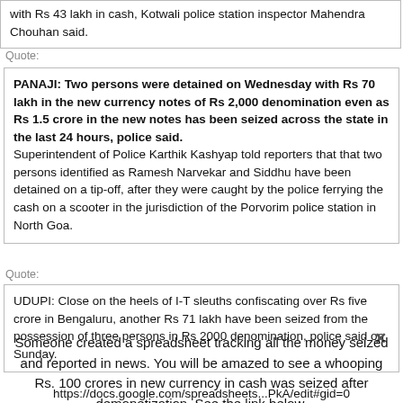with Rs 43 lakh in cash, Kotwali police station inspector Mahendra Chouhan said.
Quote:
PANAJI: Two persons were detained on Wednesday with Rs 70 lakh in the new currency notes of Rs 2,000 denomination even as Rs 1.5 crore in the new notes has been seized across the state in the last 24 hours, police said. Superintendent of Police Karthik Kashyap told reporters that that two persons identified as Ramesh Narvekar and Siddhu have been detained on a tip-off, after they were caught by the police ferrying the cash on a scooter in the jurisdiction of the Porvorim police station in North Goa.
Quote:
UDUPI: Close on the heels of I-T sleuths confiscating over Rs five crore in Bengaluru, another Rs 71 lakh have been seized from the possession of three persons in Rs 2000 denomination, police said on Sunday.
Someone created a spreadsheet tracking all the money seized and reported in news. You will be amazed to see a whooping Rs. 100 crores in new currency in cash was seized after demonetization. See the link below.
https://docs.google.com/spreadsheets...PkA/edit#gid=0